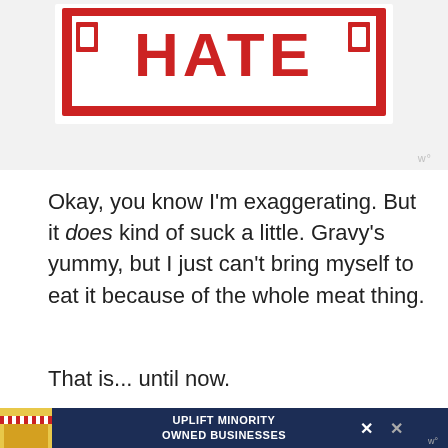[Figure (photo): Top portion of a screenshot showing a red 'HATE' sign image cropped at the top, on a light gray background]
Okay, you know I'm exaggerating. But it does kind of suck a little. Gravy's yummy, but I just can't bring myself to eat it because of the whole meat thing.
That is... until now.
[Figure (screenshot): Bottom screenshot section showing a dark blurred background with an advertisement banner for 'UPLIFT MINORITY OWNED BUSINESSES']